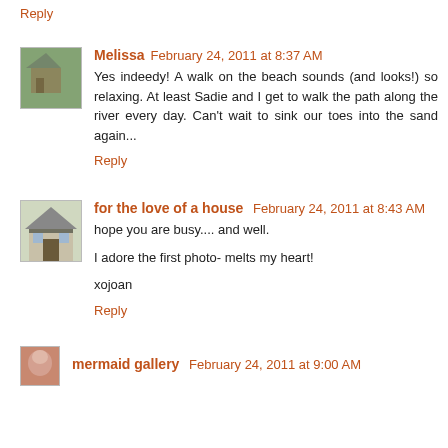Reply
Melissa  February 24, 2011 at 8:37 AM
Yes indeedy! A walk on the beach sounds (and looks!) so relaxing. At least Sadie and I get to walk the path along the river every day. Can't wait to sink our toes into the sand again...
Reply
for the love of a house  February 24, 2011 at 8:43 AM
hope you are busy.... and well.

I adore the first photo- melts my heart!

xojoan
Reply
mermaid gallery  February 24, 2011 at 9:00 AM